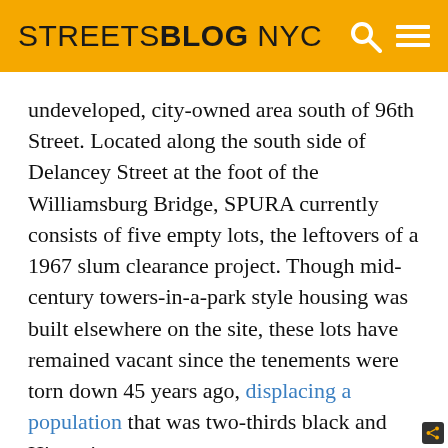STREETSBLOG NYC
undeveloped, city-owned area south of 96th Street. Located along the south side of Delancey Street at the foot of the Williamsburg Bridge, SPURA currently consists of five empty lots, the leftovers of a 1967 slum clearance project. Though mid-century towers-in-a-park style housing was built elsewhere on the site, these lots have remained vacant since the tenements were torn down 45 years ago, displacing a population that was two-thirds black and Hispanic.
Since the 1960s, one proposal after another has been floated for the SPURA site, only to fall victim to the complicated politics of development in an economically-divided neighborhood that has